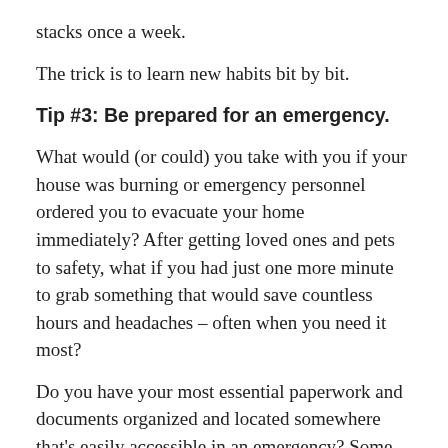stacks once a week.
The trick is to learn new habits bit by bit.
Tip #3: Be prepared for an emergency.
What would (or could) you take with you if your house was burning or emergency personnel ordered you to evacuate your home immediately? After getting loved ones and pets to safety, what if you had just one more minute to grab something that would save countless hours and headaches – often when you need it most?
Do you have your most essential paperwork and documents organized and located somewhere that’s easily accessible in an emergency? Some of these “Vital Files” include:
· Birth, marriage and other certificates.
· Important receipts and warranties